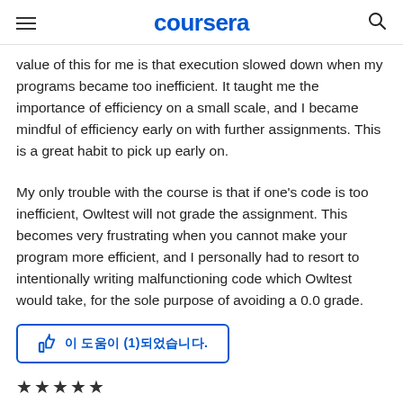coursera
value of this for me is that execution slowed down when my programs became too inefficient. It taught me the importance of efficiency on a small scale, and I became mindful of efficiency early on with further assignments. This is a great habit to pick up early on.
My only trouble with the course is that if one's code is too inefficient, Owltest will not grade the assignment. This becomes very frustrating when you cannot make your program more efficient, and I personally had to resort to intentionally writing malfunctioning code which Owltest would take, for the sole purpose of avoiding a 0.0 grade.
이 도움이 (1)되었습니다.